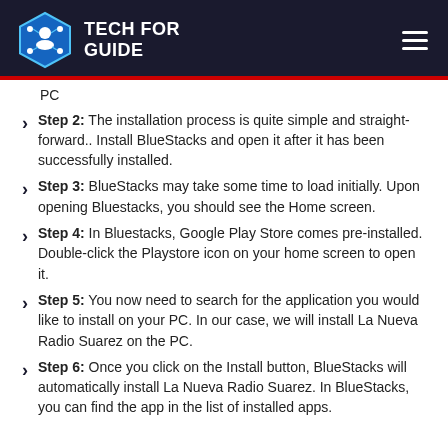TECH FOR GUIDE
PC
Step 2: The installation process is quite simple and straightforward.. Install BlueStacks and open it after it has been successfully installed.
Step 3: BlueStacks may take some time to load initially. Upon opening Bluestacks, you should see the Home screen.
Step 4: In Bluestacks, Google Play Store comes pre-installed. Double-click the Playstore icon on your home screen to open it.
Step 5: You now need to search for the application you would like to install on your PC. In our case, we will install La Nueva Radio Suarez on the PC.
Step 6: Once you click on the Install button, BlueStacks will automatically install La Nueva Radio Suarez. In BlueStacks, you can find the app in the list of installed apps.